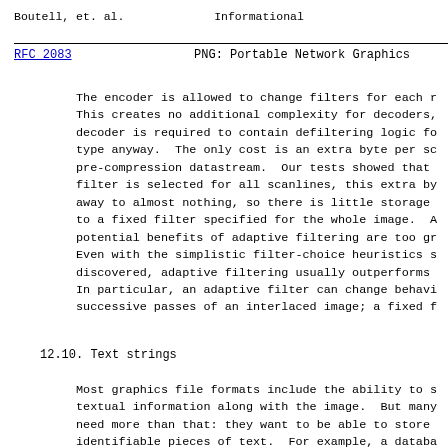Boutell, et. al.                    Informational
RFC 2083                    PNG: Portable Network Graphics
The encoder is allowed to change filters for each r... This creates no additional complexity for decoders, decoder is required to contain defiltering logic fo type anyway.  The only cost is an extra byte per sc pre-compression datastream.  Our tests showed that filter is selected for all scanlines, this extra by away to almost nothing, so there is little storage to a fixed filter specified for the whole image.  A potential benefits of adaptive filtering are too gr Even with the simplistic filter-choice heuristics s discovered, adaptive filtering usually outperforms In particular, an adaptive filter can change behavi successive passes of an interlaced image; a fixed f
12.10. Text strings
Most graphics file formats include the ability to s textual information along with the image.  But many need more than that: they want to be able to store identifiable pieces of text.  For example, a databa